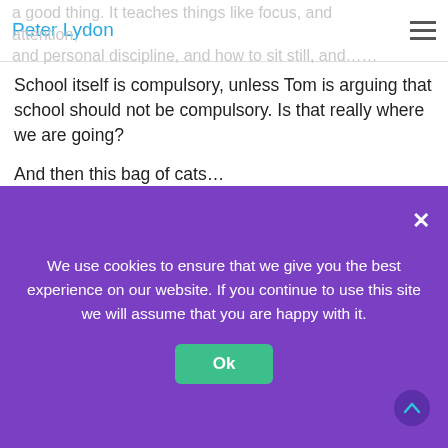Peter Lydon
School itself is compulsory, unless Tom is arguing that school should not be compulsory. Is that really where we are going?
And then this bag of cats…
“Have we the capacity to grow high trust, democratic, active, self-generating and self-sustaining learning?”
None of this is antithetical to compulsory history or geography. Although I’d love to know how students would
We use cookies to ensure that we give you the best experience on our website. If you continue to use this site we will assume that you are happy with it.